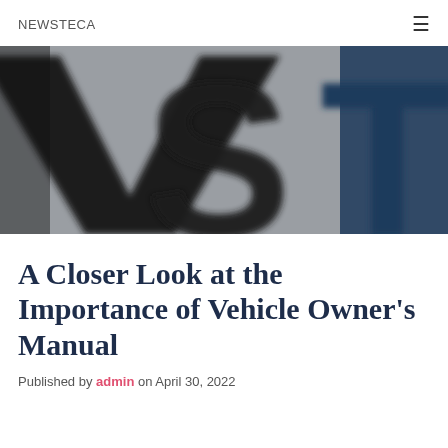NEWSTECA
[Figure (photo): Close-up blurred image of the NEWSTECA logo showing letters 'VST' in large black and blue text on a gray background]
A Closer Look at the Importance of Vehicle Owner's Manual
Published by admin on April 30, 2022